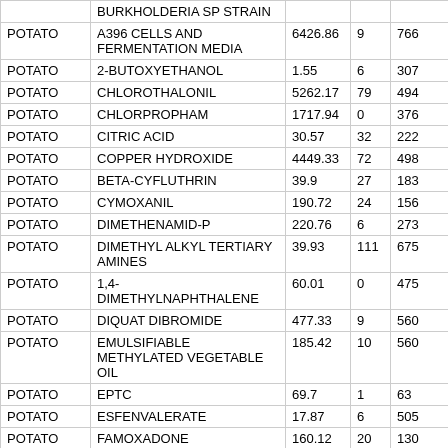|  | BURKHOLDERIA SP STRAIN |  |  |  |
| POTATO | A396 CELLS AND FERMENTATION MEDIA | 6426.86 | 9 | 766 |
| POTATO | 2-BUTOXYETHANOL | 1.55 | 6 | 307 |
| POTATO | CHLOROTHALONIL | 5262.17 | 79 | 494 |
| POTATO | CHLORPROPHAM | 1717.94 | 0 | 376 |
| POTATO | CITRIC ACID | 30.57 | 32 | 222 |
| POTATO | COPPER HYDROXIDE | 4449.33 | 72 | 498 |
| POTATO | BETA-CYFLUTHRIN | 39.9 | 27 | 183 |
| POTATO | CYMOXANIL | 190.72 | 24 | 156 |
| POTATO | DIMETHENAMID-P | 220.76 | 6 | 273 |
| POTATO | DIMETHYL ALKYL TERTIARY AMINES | 39.93 | 111 | 675 |
| POTATO | 1,4-DIMETHYLNAPHTHALENE | 60.01 | 0 | 475 |
| POTATO | DIQUAT DIBROMIDE | 477.33 | 9 | 560 |
| POTATO | EMULSIFIABLE METHYLATED VEGETABLE OIL | 185.42 | 10 | 560 |
| POTATO | EPTC | 69.7 | 1 | 63 |
| POTATO | ESFENVALERATE | 17.87 | 6 | 505 |
| POTATO | FAMOXADONE | 160.12 | 20 | 130 |